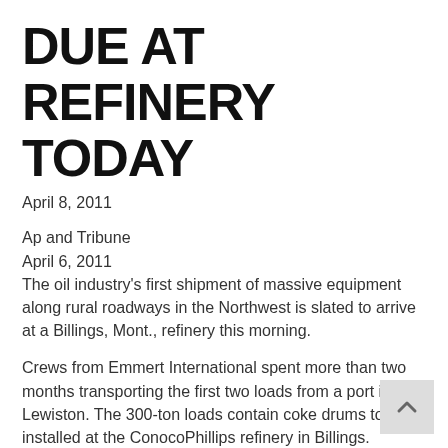DUE AT REFINERY TODAY
April 8, 2011
Ap and Tribune
April 6, 2011
The oil industry's first shipment of massive equipment along rural roadways in the Northwest is slated to arrive at a Billings, Mont., refinery this morning.
Crews from Emmert International spent more than two months transporting the first two loads from a port in Lewiston. The 300-ton loads contain coke drums to be installed at the ConocoPhillips refinery in Billings.
Emmert spokesman Mark Hefty said the crews